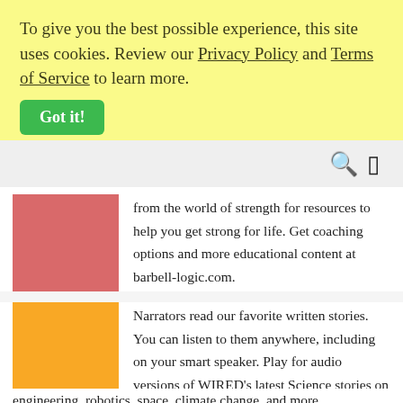To give you the best possible experience, this site uses cookies. Review our Privacy Policy and Terms of Service to learn more.
Got it!
[Figure (other): Navigation bar with search and bookmark icons]
[Figure (other): Pink/salmon colored square thumbnail image]
from the world of strength for resources to help you get strong for life. Get coaching options and more educational content at barbell-logic.com.
[Figure (other): Orange colored square thumbnail image]
Narrators read our favorite written stories. You can listen to them anywhere, including on your smart speaker. Play for audio versions of WIRED's latest Science stories on genetic engineering, robotics, space, climate change, and more.